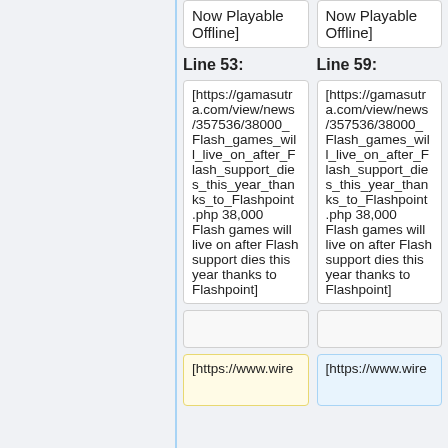Now Playable Offline]
Now Playable Offline]
Line 53:
Line 59:
[https://gamasutra.com/view/news/357536/38000_Flash_games_will_live_on_after_Flash_support_dies_this_year_thanks_to_Flashpoint.php 38,000 Flash games will live on after Flash support dies this year thanks to Flashpoint]
[https://gamasutra.com/view/news/357536/38000_Flash_games_will_live_on_after_Flash_support_dies_this_year_thanks_to_Flashpoint.php 38,000 Flash games will live on after Flash support dies this year thanks to Flashpoint]
[https://www.wire
[https://www.wire